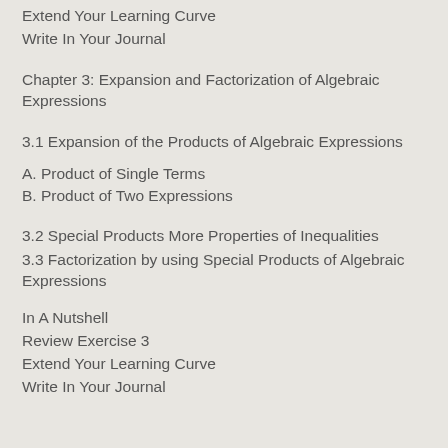Extend Your Learning Curve
Write In Your Journal
Chapter 3: Expansion and Factorization of Algebraic Expressions
3.1 Expansion of the Products of Algebraic Expressions
A. Product of Single Terms
B. Product of Two Expressions
3.2 Special Products More Properties of Inequalities
3.3 Factorization by using Special Products of Algebraic Expressions
In A Nutshell
Review Exercise 3
Extend Your Learning Curve
Write In Your Journal